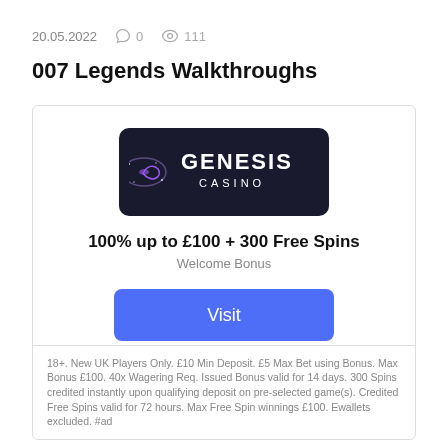20.05.2022   0   111
007 Legends Walkthroughs
[Figure (logo): Genesis Casino logo — dark background with spiral galaxy icon and text GENESIS CASINO]
100% up to £100 + 300 Free Spins
Welcome Bonus
Visit
18+. T&C's apply.
18+. New UK Players Only. £10 Min Deposit. £5 Max Bet using Bonus. Max Bonus £100. 40x Wagering Req. Issued Bonus valid for 14 days. 300 Spins credited instantly upon qualifying deposit on pre-selected game(s). Credited Free Spins valid for 72 hours. Max Free Spin winnings £100. Ewallets excluded. #ad